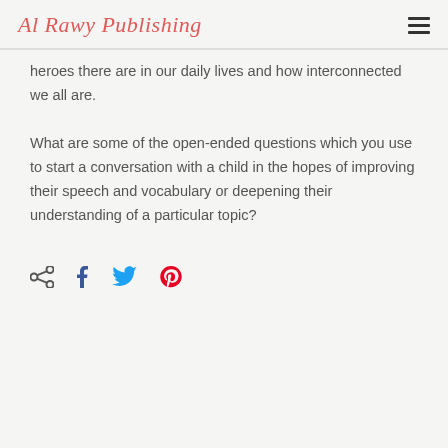Al Rawy Publishing
heroes there are in our daily lives and how interconnected we all are.
What are some of the open-ended questions which you use to start a conversation with a child in the hopes of improving their speech and vocabulary or deepening their understanding of a particular topic?
[Figure (infographic): Social sharing icons: share, Facebook, Twitter, Pinterest]